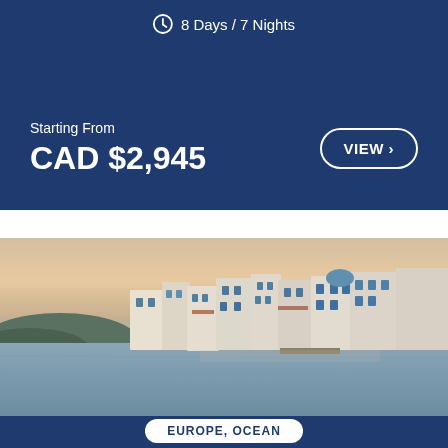8 Days / 7 Nights
Starting From
CAD $2,945
VIEW >
[Figure (photo): Coastal view of whitewashed Greek island buildings (Mykonos Little Venice) at sunset, with calm sea water in the foreground and hills in the background]
EUROPE, OCEAN